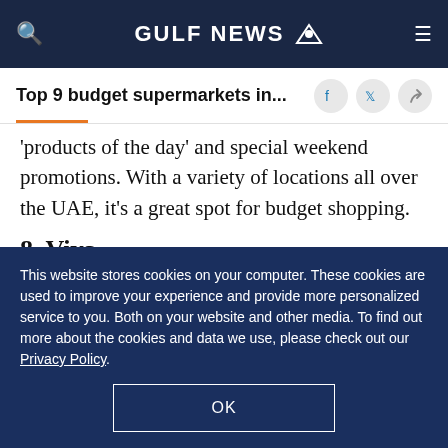GULF NEWS
Top 9 budget supermarkets in...
'products of the day' and special weekend promotions. With a variety of locations all over the UAE, it's a great spot for budget shopping.
8. Viva
Viva is one of the first UAE food discount stores in
This website stores cookies on your computer. These cookies are used to improve your experience and provide more personalized service to you. Both on your website and other media. To find out more about the cookies and data we use, please check out our Privacy Policy.